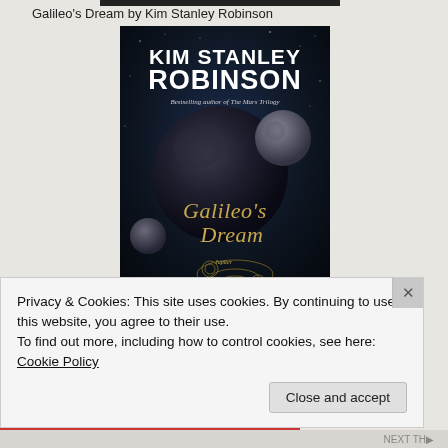Galileo's Dream by Kim Stanley Robinson
[Figure (photo): Book cover of 'Galileo's Dream' by Kim Stanley Robinson. Dark space background with a large planet, smaller moons, and golden astronomical diagrams. Title in gold serif font, author name in large white sans-serif font at top. Subtitle: 'Bestselling author of The Mars Trilogy'. Tagline at bottom: 'The ultimate in']
Privacy & Cookies: This site uses cookies. By continuing to use this website, you agree to their use.
To find out more, including how to control cookies, see here: Cookie Policy
Close and accept